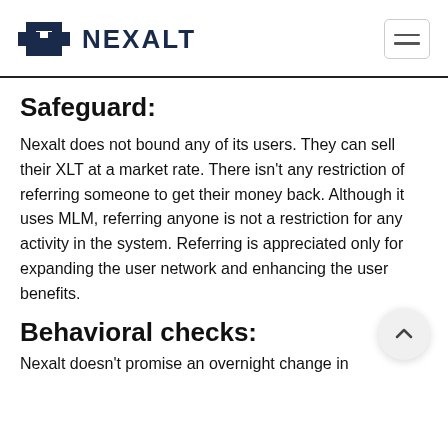NEXALT
Safeguard:
Nexalt does not bound any of its users. They can sell their XLT at a market rate. There isn't any restriction of referring someone to get their money back. Although it uses MLM, referring anyone is not a restriction for any activity in the system. Referring is appreciated only for expanding the user network and enhancing the user benefits.
Behavioral checks:
Nexalt doesn't promise an overnight change in